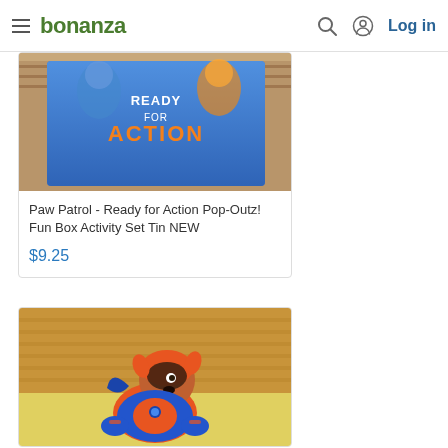bonanza  Log in
[Figure (photo): Paw Patrol Ready for Action tin box with cartoon dogs on blue background]
Paw Patrol - Ready for Action Pop-Outz! Fun Box Activity Set Tin NEW
$9.25
[Figure (photo): Paw Patrol Zuma orange and blue plush stuffed animal dog toy sitting against wooden background]